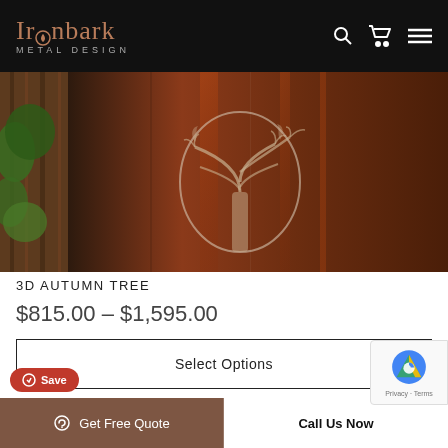Ironbark METAL DESIGN
[Figure (photo): Close-up of a rusty corten steel panel with a 3D autumn tree cutout design. Branches are visible in silhouette against the weathered metal surface, with green foliage visible to the left side.]
3D AUTUMN TREE
$815.00 – $1,595.00
Select Options
Save
Get Free Quote
Call Us Now